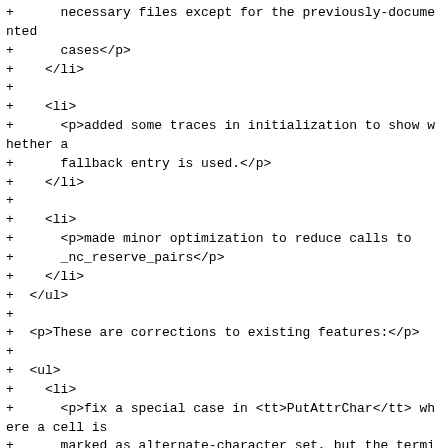+      necessary files except for the previously-documented
+      cases</p>
+    </li>
+
+    <li>
+      <p>added some traces in initialization to show whether a
+      fallback entry is used.</p>
+    </li>
+
+    <li>
+      <p>made minor optimization to reduce calls to
+      _nc_reserve_pairs</p>
+    </li>
+  </ul>
+
+  <p>These are corrections to existing features:</p>
+
+  <ul>
+    <li>
+      <p>fix a special case in <tt>PutAttrChar</tt> where a cell is
+      marked as alternate-character set, but the terminal does not
+      actually support the given graphic character. This would
+      happen in an older terminal such as <em>vt52</em>, which
+      lacks most line-drawing capability.</p>
+    <li>